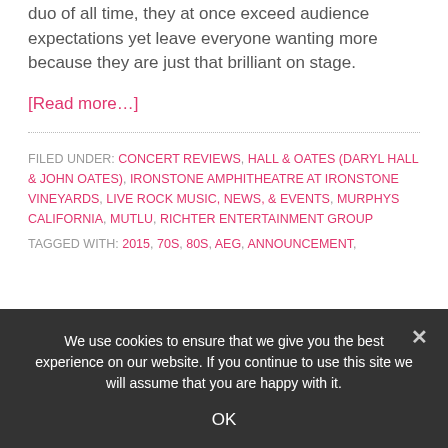duo of all time, they at once exceed audience expectations yet leave everyone wanting more because they are just that brilliant on stage.
[Read more…]
FILED UNDER: CONCERT REVIEWS, HALL & OATES (DARYL HALL & JOHN OATES), IRONSTONE AMPHITHEATRE AT IRONSTONE VINEYARDS, LIVE ROCK MUSIC, NEWS, & EVENTS, MURPHYS CALIFORNIA, MUTLU, RICHTER ENTERTAINMENT GROUP
TAGGED WITH: 2015, 70S, 80S, AEG, ANNOUNCEMENT,
We use cookies to ensure that we give you the best experience on our website. If you continue to use this site we will assume that you are happy with it.
OK